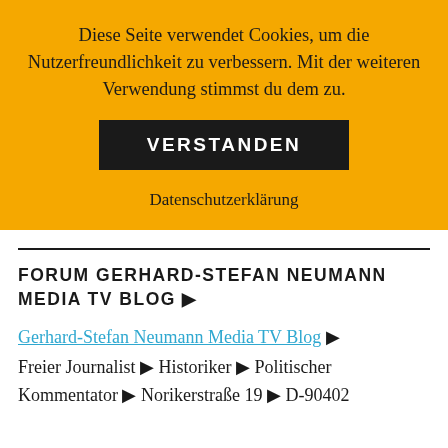Diese Seite verwendet Cookies, um die Nutzerfreundlichkeit zu verbessern. Mit der weiteren Verwendung stimmst du dem zu.
VERSTANDEN
Datenschutzerklärung
FORUM GERHARD-STEFAN NEUMANN MEDIA TV BLOG ▶
Gerhard-Stefan Neumann Media TV Blog ▶
Freier Journalist ▶ Historiker ▶ Politischer Kommentator ▶ Norikerstraße 19 ▶ D-90402